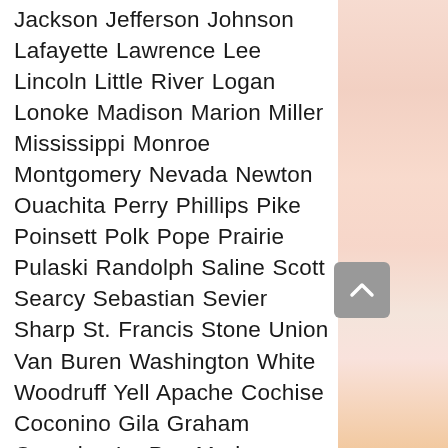Jackson Jefferson Johnson Lafayette Lawrence Lee Lincoln Little River Logan Lonoke Madison Marion Miller Mississippi Monroe Montgomery Nevada Newton Ouachita Perry Phillips Pike Poinsett Polk Pope Prairie Pulaski Randolph Saline Scott Searcy Sebastian Sevier Sharp St. Francis Stone Union Van Buren Washington White Woodruff Yell Apache Cochise Coconino Gila Graham Greenlee La Paz Maricopa Mohave Navajo Pima Pinal Santa Cruz Yavapai Yuma Aleutians East Aleutians West (CA) Anchorage Bethel (CA) Bristol Bay Denali Dillingham (CA) Fairbanks North Star Haines Hoonah-Angoon (CA) Juneau Kenai Peninsula Ketchikan Gateway Kodiak Island Kusilvak (CA) Lake and Peninsula Matanuska-Susitna Nome (CA) North Slope Northwest Arctic Petersburg Borough Prince of Wales-Hyder (CA) Sitka Skagway Southeast Fairbanks (CA) Valdez-Cordova (CA) Wrangell Yakutat Yukon-Koyukuk (CA) Anchorage Balseiro Bedrock Bids Bharat...